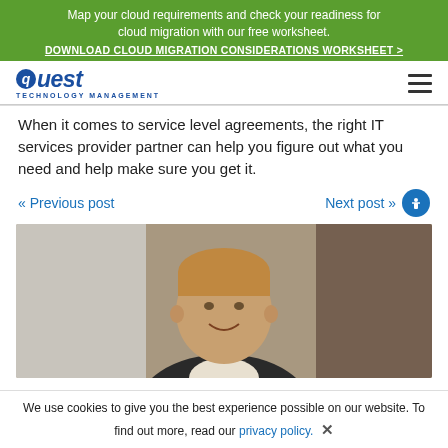Map your cloud requirements and check your readiness for cloud migration with our free worksheet. DOWNLOAD CLOUD MIGRATION CONSIDERATIONS WORKSHEET >
[Figure (logo): Quest Technology Management logo with blue text and italic styling]
When it comes to service level agreements, the right IT services provider partner can help you figure out what you need and help make sure you get it.
« Previous post   Next post »
[Figure (photo): Portrait photo of a middle-aged man with short hair, smiling, in a professional setting]
We use cookies to give you the best experience possible on our website. To find out more, read our privacy policy. ✕